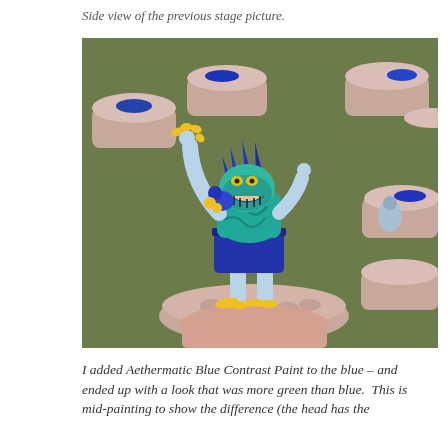Side view of the previous stage picture.
[Figure (photo): A painted miniature figurine of a blue and teal monster/creature with yellow claws and teeth, posed on a round base, surrounded by paint pots on a green surface. The figure has blue spikes on its head, a teal torso, blue lower body, and yellow nails on hands and feet.]
I added Aethermatic Blue Contrast Paint to the blue – and ended up with a look that was more green than blue.  This is mid-painting to show the difference (the head has the